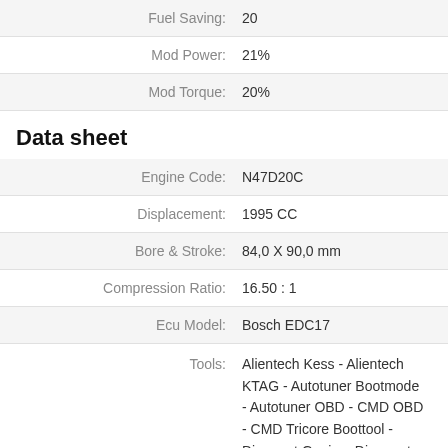| Label | Value |
| --- | --- |
| Fuel Saving: | 20 |
| Mod Power: | 21% |
| Mod Torque: | 20% |
Data sheet
| Label | Value |
| --- | --- |
| Engine Code: | N47D20C |
| Displacement: | 1995 CC |
| Bore & Stroke: | 84,0 X 90,0 mm |
| Compression Ratio: | 16.50 : 1 |
| Ecu Model: | Bosch EDC17 |
| Tools: | Alientech Kess - Alientech KTAG - Autotuner Bootmode - Autotuner OBD - CMD OBD - CMD Tricore Boottool - Dimsport Genius- Dimsport |